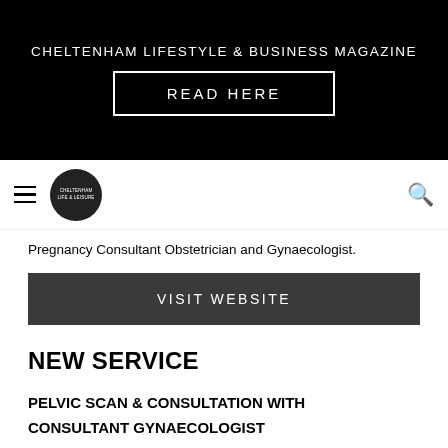CHELTENHAM LIFESTYLE & BUSINESS MAGAZINE
[Figure (screenshot): READ HERE button on black background]
[Figure (logo): Cheltenham Life & Leisure circular logo with hamburger menu and search icon]
Pregnancy Consultant Obstetrician and Gynaecologist.
VISIT WEBSITE
NEW SERVICE
PELVIC SCAN & CONSULTATION WITH CONSULTANT GYNAECOLOGIST
Besides offering early pregnancy scan and consultation service